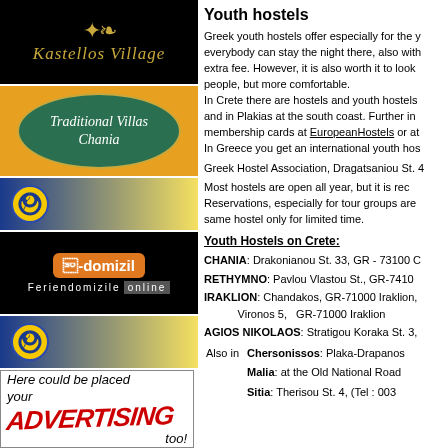[Figure (logo): Kastellos Village logo - black background with gold plant design and italic text]
[Figure (logo): Traditional Villas Chania - orange background with dark green oval and white italic text]
[Figure (logo): Spiral logo on blue to yellow gradient background]
[Figure (logo): e-domizil Feriendomizile online logo on black background]
[Figure (logo): Spiral logo on blue to yellow gradient background]
[Figure (advertisement): Here could be placed your ADVERTISING too!]
Youth hostels
Greek youth hostels offer especially for the y... everybody can stay the night there, also with... extra fee. However, it is also worth it to look... people, but more comfortable. In Crete there are hostels and youth hostels... and in Plakias at the south coast. Further in... membership cards at EuropeanHostels or at... In Greece you get an international youth hos...
Greek Hostel Association, Dragatsaniou St. 4
Most hostels are open all year, but it is rec... Reservations, especially for tour groups are... same hostel only for limited time.
Youth Hostels on Crete:
CHANIA: Drakonianou St. 33, GR - 73100 C
RETHYMNO: Pavlou Vlastou St., GR-7410
IRAKLION: Chandakos, GR-71000 Iraklion, Vironos 5, GR-71000 Iraklion
AGIOS NIKOLAOS: Stratigou Koraka St. 3,
Also in  Chersonissos: Plaka-Drapanos  Malia: at the Old National Road  Sitia: Therisou St. 4, (Tel: 003